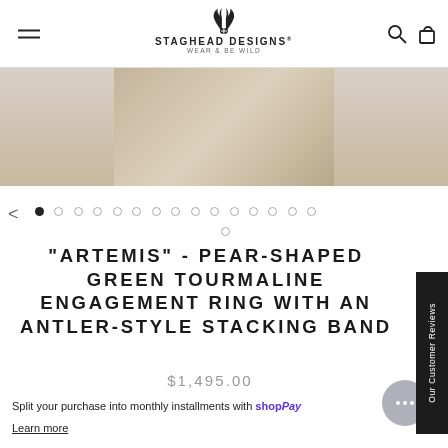Staghead Designs — Wear & Be Wild
[Figure (photo): Product image of engagement ring on wooden/stone surface, cropped top portion visible]
[Figure (other): Carousel navigation dots (one filled, rest empty) and left arrow]
"ARTEMIS" - PEAR-SHAPED GREEN TOURMALINE ENGAGEMENT RING WITH AN ANTLER-STYLE STACKING BAND
$1,495.00
Split your purchase into monthly installments with Shop Pay
Learn more